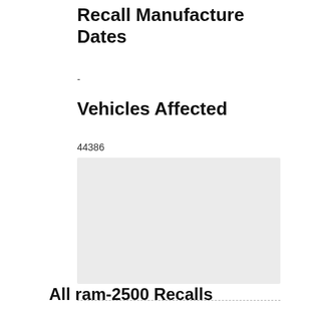Recall Manufacture Dates
-
Vehicles Affected
44386
[Figure (other): Light gray rectangular placeholder box]
All ram-2500 Recalls